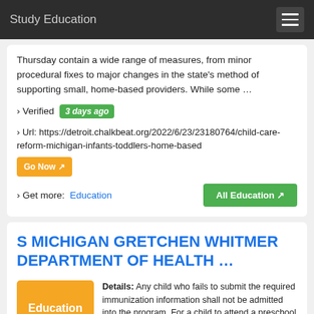Study Education
Thursday contain a wide range of measures, from minor procedural fixes to major changes in the state's method of supporting small, home-based providers. While some …
› Verified   3 days ago
› Url: https://detroit.chalkbeat.org/2022/6/23/23180764/child-care-reform-michigan-infants-toddlers-home-based   Go Now
› Get more:  Education   All Education
S MICHIGAN GRETCHEN WHITMER DEPARTMENT OF HEALTH …
[Figure (illustration): Orange Education label thumbnail]
Details: Any child who fails to submit the required immunization information shall not be admitted into the program. For a child to attend a preschool